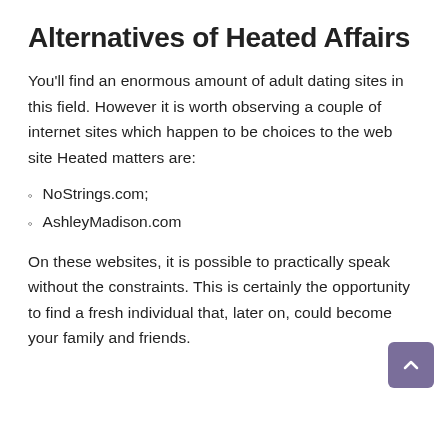Alternatives of Heated Affairs
You'll find an enormous amount of adult dating sites in this field. However it is worth observing a couple of internet sites which happen to be choices to the web site Heated matters are:
NoStrings.com;
AshleyMadison.com
On these websites, it is possible to practically speak without the constraints. This is certainly the opportunity to find a fresh individual that, later on, could become your family and friends.